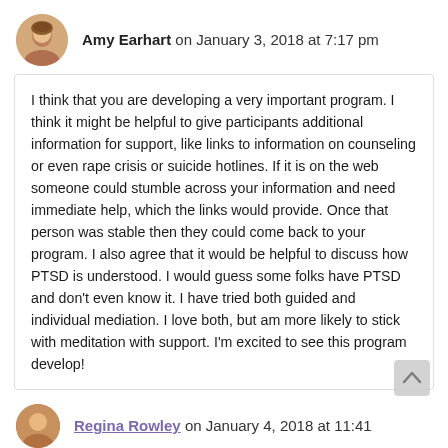Amy Earhart on January 3, 2018 at 7:17 pm
I think that you are developing a very important program. I think it might be helpful to give participants additional information for support, like links to information on counseling or even rape crisis or suicide hotlines. If it is on the web someone could stumble across your information and need immediate help, which the links would provide. Once that person was stable then they could come back to your program. I also agree that it would be helpful to discuss how PTSD is understood. I would guess some folks have PTSD and don't even know it. I have tried both guided and individual mediation. I love both, but am more likely to stick with meditation with support. I'm excited to see this program develop!
Reply
Regina Rowley on January 4, 2018 at 11:41